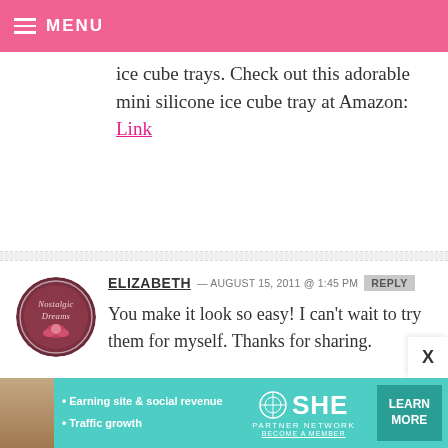MENU
ice cube trays. Check out this adorable mini silicone ice cube tray at Amazon: Link
ELIZABETH — AUGUST 15, 2011 @ 1:45 PM REPLY
You make it look so easy! I can't wait to try them for myself. Thanks for sharing.
[Figure (other): Advertisement banner: SHE Partner Network - Earning site & social revenue, Traffic growth - LEARN MORE, BECOME A MEMBER]
[Figure (other): Avatar image for Elizabeth showing Nostalgic Dreams logo - circular badge with roses]